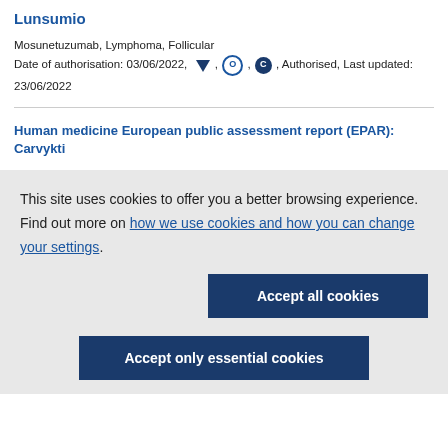Lunsumio
Mosunetuzumab, Lymphoma, Follicular
Date of authorisation: 03/06/2022, [triangle], [O], [C], Authorised, Last updated: 23/06/2022
Human medicine European public assessment report (EPAR): Carvykti
This site uses cookies to offer you a better browsing experience. Find out more on how we use cookies and how you can change your settings.
Accept all cookies
Accept only essential cookies